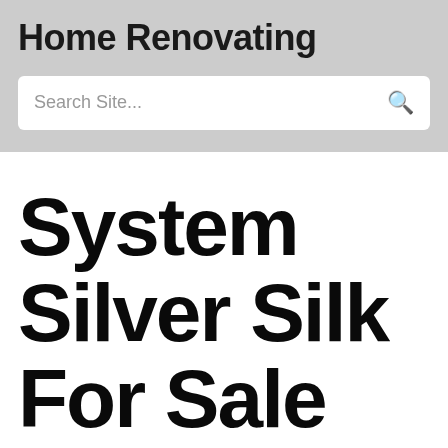Home Renovating
Search Site...
System Silver Silk For Sale